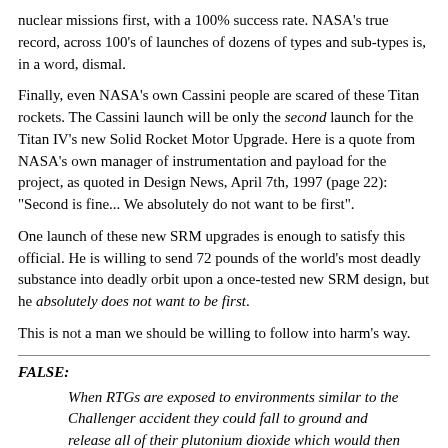nuclear missions first, with a 100% success rate. NASA's true record, across 100's of launches of dozens of types and sub-types is, in a word, dismal.
Finally, even NASA's own Cassini people are scared of these Titan rockets. The Cassini launch will be only the second launch for the Titan IV's new Solid Rocket Motor Upgrade. Here is a quote from NASA's own manager of instrumentation and payload for the project, as quoted in Design News, April 7th, 1997 (page 22): "Second is fine... We absolutely do not want to be first".
One launch of these new SRM upgrades is enough to satisfy this official. He is willing to send 72 pounds of the world's most deadly substance into deadly orbit upon a once-tested new SRM design, but he absolutely does not want to be first.
This is not a man we should be willing to follow into harm's way.
FALSE:
When RTGs are exposed to environments similar to the Challenger accident they could fall to ground and release all of their plutonium dioxide which would then be taken up into the air and then "rain down" on people in populated areas.
TRUE: